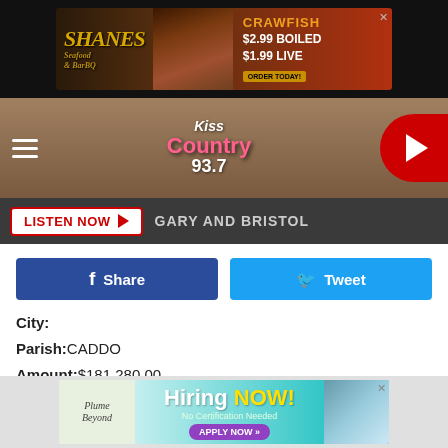[Figure (screenshot): Shanes Seafood & BarBQ advertisement banner with crawfish pricing: $2.99 Boiled, $1.99 Live, Order Today]
[Figure (logo): Kiss Country 93.7 radio station header with hamburger menu and play button]
LISTEN NOW  GARY AND BRISTOL
[Figure (other): Facebook Share button and Twitter Tweet button]
City:
Parish:CADDO
Amount:$181,280.00
Birthday:5/7/1977
KEITH DEWAYNE LIGHT
City:NEW ORLEANS LA
[Figure (screenshot): Plume Beyond Hiring NOW! No Certification Needed - Apply Now advertisement banner]